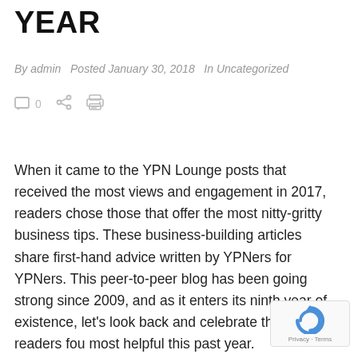YEAR
By admin  Posted January 30, 2018  In Uncategorized
[Figure (other): Comment icon with count 0, share icon, print icon]
When it came to the YPN Lounge posts that received the most views and engagement in 2017, readers chose those that offer the most nitty-gritty business tips. These business-building articles share first-hand advice written by YPNers for YPNers. This peer-to-peer blog has been going strong since 2009, and as it enters its ninth year of existence, let's look back and celebrate the posts readers fou most helpful this past year.